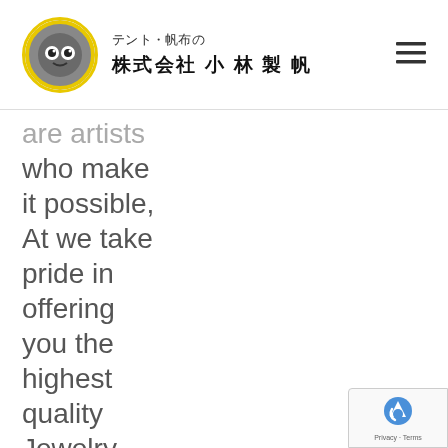[Figure (logo): Circular logo with yellow border showing a mascot character, with Japanese text: テント・帆布の 株式会社 小 林 製 帆]
are artists who make it possible, At we take pride in offering you the highest quality Jewelry with the lowest price. Our
[Figure (other): Google reCAPTCHA badge with Privacy and Terms text]